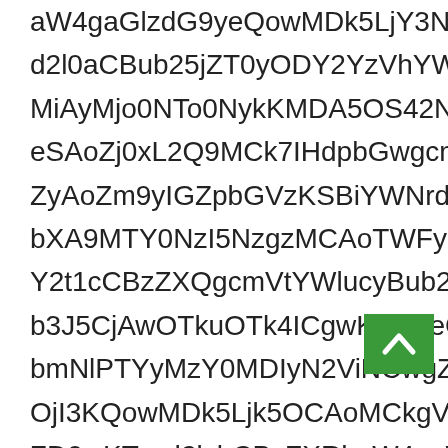aW4gaGlzdG9yeQowMDk5LjY3NSAoMCkgRXhhbWlud2l0aCBub25lOyBjb250aW51ZToKZD0laCBub25lOyBjb250aW51ZToKZD0laW4gaGlzdG9yeQowMDk1LjY3NSAoMCkgRXhhbWluZYwMDk1LjY3NSAoMCkgRXhhbWluZW...